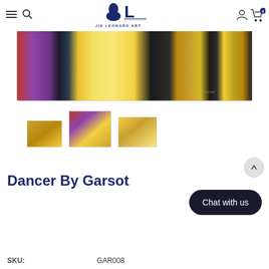Louis Leonard Art — navigation header with menu, search, logo, user and cart icons
[Figure (photo): Wide panoramic painting 'Dancer By Garsot' — abstract expressionist art with swirling colors including red, purple, yellow, gold, and black, signed 'Garsot' in lower right]
[Figure (photo): Three thumbnail images of the same artwork from different angles or details]
Dancer By Garsot
SKU:	GAR008
[Figure (illustration): Chat with us button (dark rounded rectangle)]